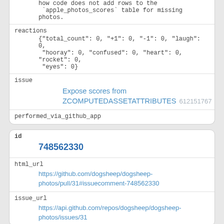how code does not add rows to the `apple_photos_scores` table for missing photos.
reactions
{"total_count": 0, "+1": 0, "-1": 0, "laugh": 0, "hooray": 0, "confused": 0, "heart": 0, "rocket": 0, "eyes": 0}
issue
Expose scores from ZCOMPUTEDASSETATTRIBUTES 612151767
performed_via_github_app
id
748562330
html_url
https://github.com/dogsheep/dogsheep-photos/pull/31#issuecomment-748562330
issue_url
https://api.github.com/repos/dogsheep/dogsheep-photos/issues/31